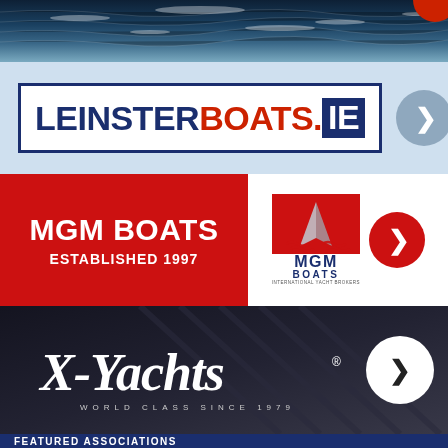[Figure (photo): Ocean/water scene background image — dark blue water texture]
[Figure (logo): LeinsterBoats.ie logo on light blue background with gray arrow circle button]
[Figure (logo): MGM Boats red banner with 'MGM BOATS ESTABLISHED 1997' text and MGM Boats International Yacht Brokers logo with red arrow circle]
[Figure (logo): X-Yachts World Class Since 1979 logo on dark navy background with white arrow circle]
FEATURED ASSOCIATIONS
[Figure (logo): ICRA logo banner in red/orange — partially visible at bottom]